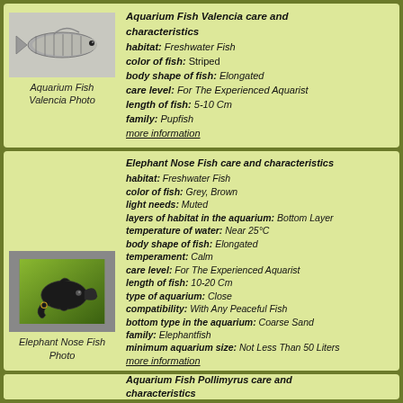[Figure (photo): Aquarium Fish Valencia - small striped freshwater fish on white/light background]
Aquarium Fish Valencia Photo
Aquarium Fish Valencia care and characteristics
habitat: Freshwater Fish
color of fish: Striped
body shape of fish: Elongated
care level: For The Experienced Aquarist
length of fish: 5-10 Cm
family: Pupfish
more information
[Figure (photo): Elephant Nose Fish - dark/black fish with elongated snout against green background]
Elephant Nose Fish Photo
Elephant Nose Fish care and characteristics
habitat: Freshwater Fish
color of fish: Grey, Brown
light needs: Muted
layers of habitat in the aquarium: Bottom Layer
temperature of water: Near 25°C
body shape of fish: Elongated
temperament: Calm
care level: For The Experienced Aquarist
length of fish: 10-20 Cm
type of aquarium: Close
compatibility: With Any Peaceful Fish
bottom type in the aquarium: Coarse Sand
family: Elephantfish
minimum aquarium size: Not Less Than 50 Liters
more information
Aquarium Fish Pollimyrus care and characteristics